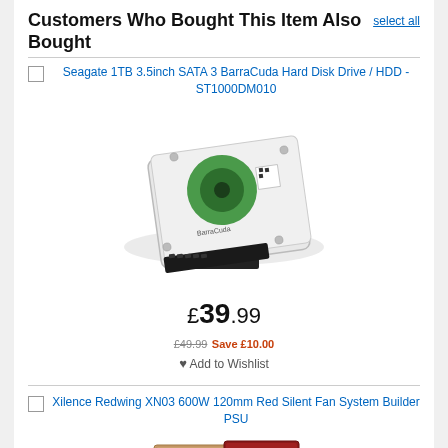Customers Who Bought This Item Also Bought
select all
Seagate 1TB 3.5inch SATA 3 BarraCuda Hard Disk Drive / HDD - ST1000DM010
[Figure (photo): Seagate BarraCuda 1TB 3.5inch SATA hard disk drive product photo]
£39.99
£49.99 Save £10.00
Add to Wishlist
Xilence Redwing XN03 600W 120mm Red Silent Fan System Builder PSU
[Figure (photo): Xilence Redwing XN03 600W PSU product photo showing box packaging with red fan]